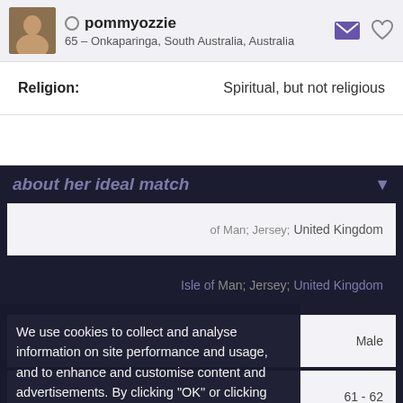pommyozzie – 65 – Onkaparinga, South Australia, Australia
Religion: Spiritual, but not religious
about her ideal match
of Man; Jersey; United Kingdom
Isle of Man; Jersey; United Kingdom
Male
61 - 62
We use cookies to collect and analyse information on site performance and usage, and to enhance and customise content and advertisements. By clicking "OK" or clicking into any content on this site you agree to allow cookies to be placed. To find out more or to change your cookie settings, visit the cookies section of our Privacy Policy.